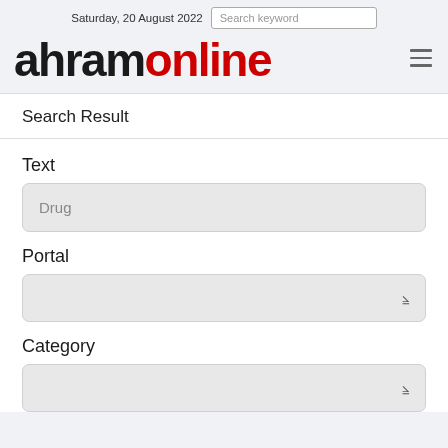Saturday, 20 August 2022
[Figure (logo): Ahram Online logo with 'ahram' in black bold and 'online' in red bold]
Search Result
Text
Drug
Portal
Category